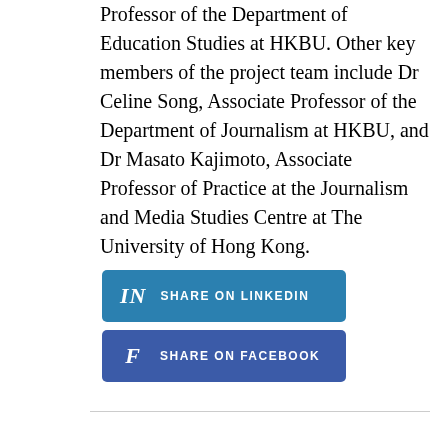Professor of the Department of Education Studies at HKBU. Other key members of the project team include Dr Celine Song, Associate Professor of the Department of Journalism at HKBU, and Dr Masato Kajimoto, Associate Professor of Practice at the Journalism and Media Studies Centre at The University of Hong Kong.
[Figure (other): Two social media sharing buttons: 'Share on LinkedIn' (blue with LinkedIn 'in' logo) and 'Share on Facebook' (dark blue with Facebook 'f' logo)]